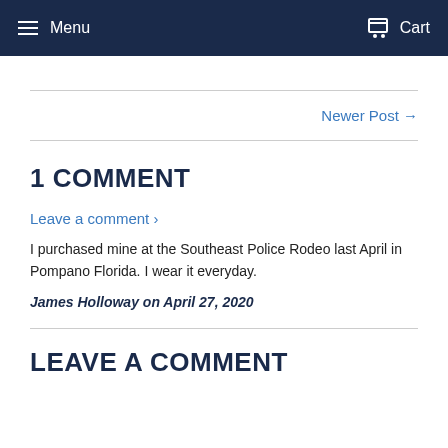Menu  Cart
Newer Post →
1 COMMENT
Leave a comment ›
I purchased mine at the Southeast Police Rodeo last April in Pompano Florida. I wear it everyday.
James Holloway on April 27, 2020
LEAVE A COMMENT